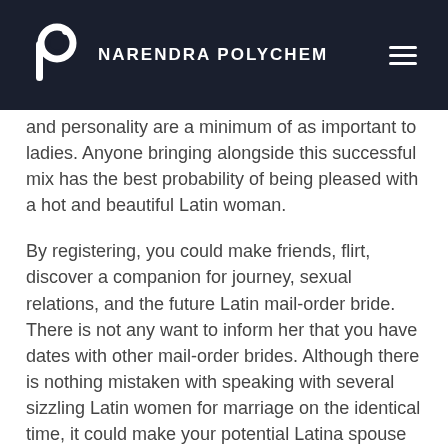NARENDRA POLYCHEM
and personality are a minimum of as important to ladies. Anyone bringing alongside this successful mix has the best probability of being pleased with a hot and beautiful Latin woman.
By registering, you could make friends, flirt, discover a companion for journey, sexual relations, and the future Latin mail-order bride. There is not any want to inform her that you have dates with other mail-order brides. Although there is nothing mistaken with speaking with several sizzling Latin women for marriage on the identical time, it could make your potential Latina spouse really feel uncomfortable and offended. Some time ago you'll find an essential extensively held take a look at that free